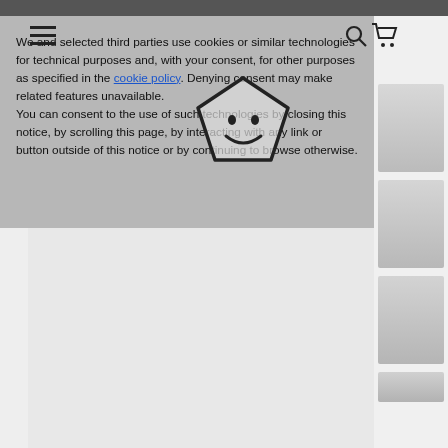We and selected third parties use cookies or similar technologies for technical purposes and, with your consent, for other purposes as specified in the cookie policy. Denying consent may make related features unavailable.
You can consent to the use of such technologies by closing this notice, by scrolling this page, by interacting with any link or button outside of this notice or by continuing to browse otherwise.
[Figure (screenshot): E-commerce product page showing clothing thumbnails on the right side with a cookie consent overlay covering the main product image area]
[Figure (illustration): Hand-drawn pentagon shape with a smiley face inside, overlaid on the cookie notice]